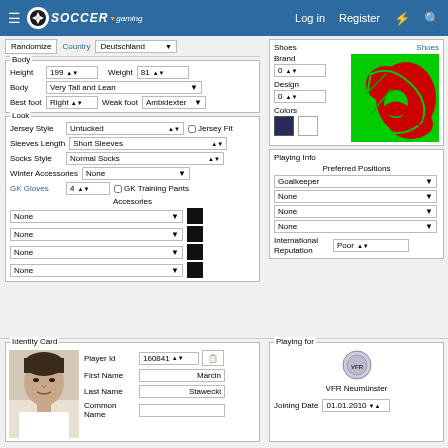Soccer Gaming – Log in | Register
Randomize | Country | Deutschland
Body
Height: 199 | Weight: 81
Body: Very Tall and Lean
Best foot: Right | Weak foot: Ambidexter
Look
Jersey Style: Untucked | Jersey Fit
Sleeves Length: Short Sleeves
Socks Style: Normal Socks
Winter Accessories: None
GK Gloves: 4 | GK Training Pants
Accesories
None (x4 accessory slots with black color boxes)
Shoes
Brand: 0 | Design: 0 | Colors
[Figure (illustration): Shoe design preview - green and red graphic]
Playing Info – Preferred Positions
Goalkeeper | None | None | None
International Reputation: Poor
Identity Card
Player Id: 160841 | First Name: Marcin | Last Name: Stawecki | Common Name:
[Figure (photo): Player portrait photo – man with dark hair]
Playing for
VFR Neumünster | Joining Date: 01.01.2010